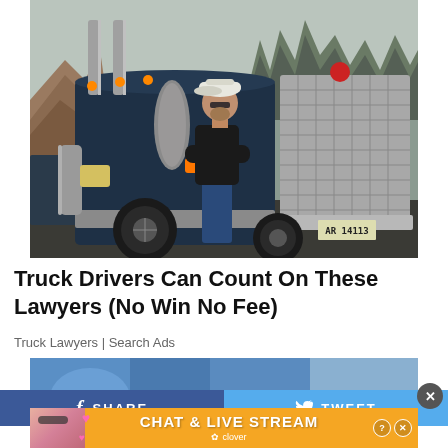[Figure (photo): Man in baseball cap and black jacket standing with arms crossed in front of a large dark blue Peterbilt semi-truck cab, outdoor setting with bare trees in background. License plate reads AR 14113.]
Truck Drivers Can Count On These Lawyers (No Win No Fee)
Truck Lawyers | Search Ads
[Figure (photo): Partial image of a person in a blue shirt outdoors, appears to be a second advertisement image strip.]
[Figure (infographic): Social share bar with Facebook SHARE button on left (blue) and Twitter TWEET button on right (light blue), with X close button on right side.]
[Figure (infographic): Orange advertisement banner showing woman in sunglasses on left with pink hearts, text reading CHAT & LIVE STREAM with clover branding, question mark and X icons on right.]